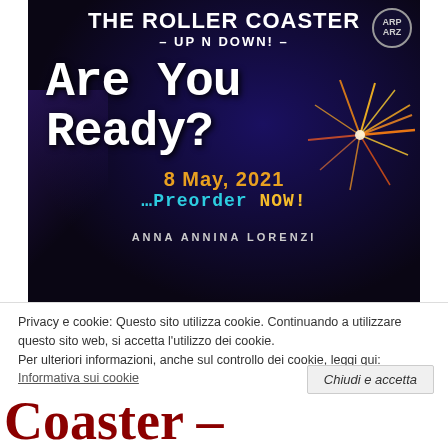[Figure (illustration): Book promotional image for 'The Roller Coaster – Up N Down!' by Anna Annina Lorenzi. Dark background with roller coaster silhouette, fireworks, text 'Are You Ready?', date '8 May, 2021', and 'Preorder NOW!']
Privacy e cookie: Questo sito utilizza cookie. Continuando a utilizzare questo sito web, si accetta l'utilizzo dei cookie.
Per ulteriori informazioni, anche sul controllo dei cookie, leggi qui:
Informativa sui cookie
Chiudi e accetta
Coaster –